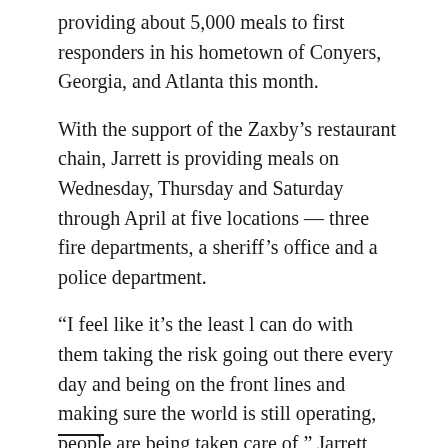providing about 5,000 meals to first responders in his hometown of Conyers, Georgia, and Atlanta this month.
With the support of the Zaxby's restaurant chain, Jarrett is providing meals on Wednesday, Thursday and Saturday through April at five locations — three fire departments, a sheriff's office and a police department.
“I feel like it’s the least l can do with them taking the risk going out there every day and being on the front lines and making sure the world is still operating, people are being taken care of,” Jarrett said. “I feel that my family and I feeding them Zaxby’s meals to just make sure that they have something to eat is just a small gesture to show that their work is appreciated.”